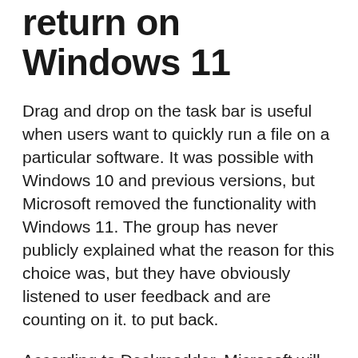return on Windows 11
Drag and drop on the task bar is useful when users want to quickly run a file on a particular software. It was possible with Windows 10 and previous versions, but Microsoft removed the functionality with Windows 11. The group has never publicly explained what the reason for this choice was, but they have obviously listened to user feedback and are counting on it. to put back.
According to Deskmodder, Microsoft will be reintroducing drag and drop in a Dev version of Windows 11 and that will happen after Christmas. We must therefore expect that all users will be able to benefit from it in the course of 2022. In particular, it would be a